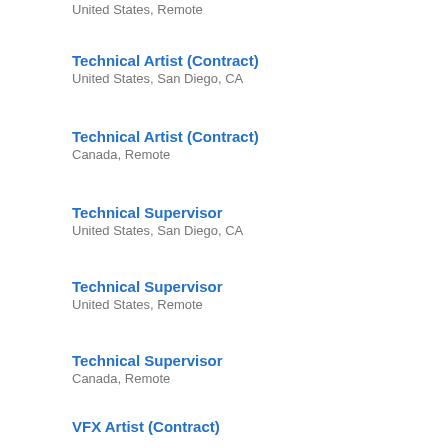United States, Remote
Technical Artist (Contract)
United States, San Diego, CA
Technical Artist (Contract)
Canada, Remote
Technical Supervisor
United States, San Diego, CA
Technical Supervisor
United States, Remote
Technical Supervisor
Canada, Remote
VFX Artist (Contract)
Canada, Remote
VFX Artist (Contract)